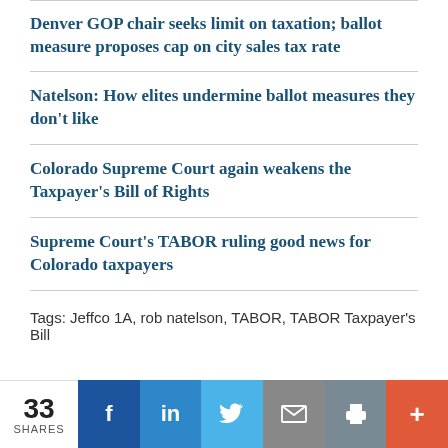Denver GOP chair seeks limit on taxation; ballot measure proposes cap on city sales tax rate
Natelson: How elites undermine ballot measures they don't like
Colorado Supreme Court again weakens the Taxpayer's Bill of Rights
Supreme Court's TABOR ruling good news for Colorado taxpayers
Tags: Jeffco 1A, rob natelson, TABOR, TABOR Taxpayer's Bill
33 SHARES | f | in | Twitter | Email | Print | +